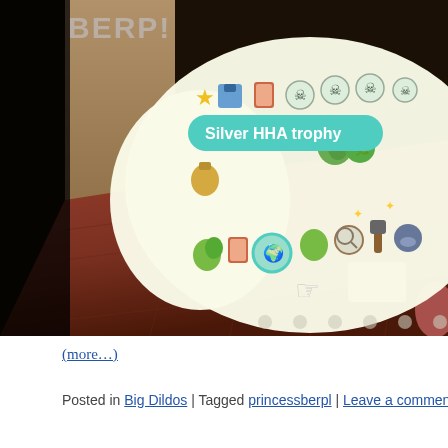[Figure (screenshot): Screenshot of Animal Crossing game showing an inventory/catalog screen with a tooltip bubble reading 'Silver HHA trophy'. Various item icons are visible including skulls, leaves, and other collectibles. The game room shows a dark floor with reddish-brown tile flooring. 'BERP!' watermark visible in upper left.]
(more…)
Posted in Big Dildos | Tagged princessberpl | Leave a comment